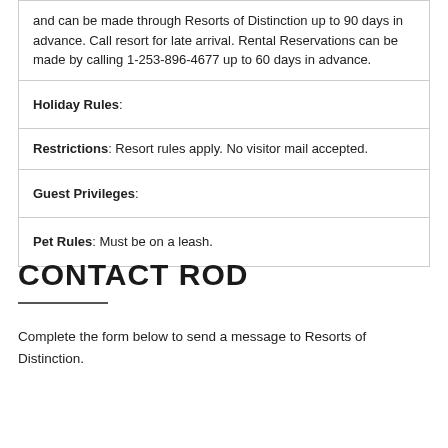| and can be made through Resorts of Distinction up to 90 days in advance. Call resort for late arrival. Rental Reservations can be made by calling 1-253-896-4677 up to 60 days in advance. |
| Holiday Rules: |
| Restrictions: Resort rules apply. No visitor mail accepted. |
| Guest Privileges: |
| Pet Rules: Must be on a leash. |
CONTACT ROD
Complete the form below to send a message to Resorts of Distinction.